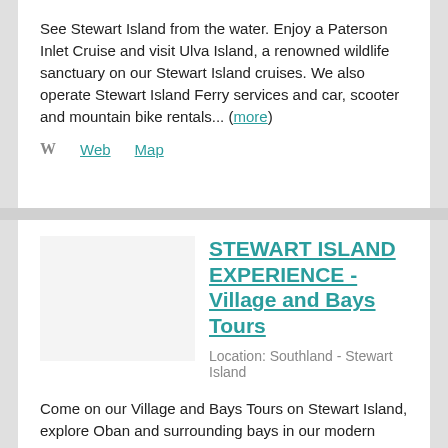See Stewart Island from the water. Enjoy a Paterson Inlet Cruise and visit Ulva Island, a renowned wildlife sanctuary on our Stewart Island cruises. We also operate Stewart Island Ferry services and car, scooter and mountain bike rentals... (more)
Web  Map
STEWART ISLAND EXPERIENCE - Village and Bays Tours
Location: Southland - Stewart Island
Come on our Village and Bays Tours on Stewart Island, explore Oban and surrounding bays in our modern mini-buses. Gain an entertaining insight into the community, its history and environment. We also operate Stewart Island Ferry services, Paterson Inlet Cruises and car and mountain bike rentals..